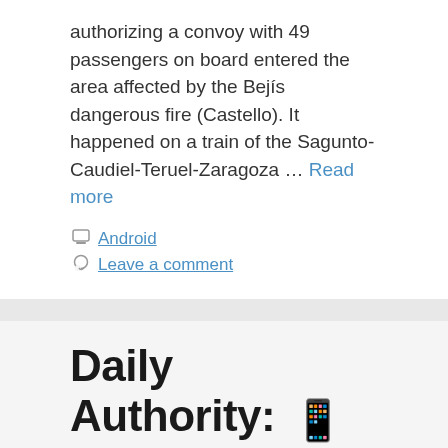authorizing a convoy with 49 passengers on board entered the area affected by the Bejís dangerous fire (Castello). It happened on a train of the Sagunto-Caudiel-Teruel-Zaragoza … Read more
Android
Leave a comment
Daily Authority: 📱 The pixel density wars might be over